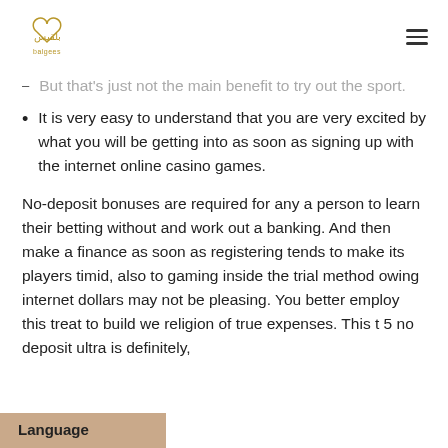balgees logo and hamburger menu
But that's just not the main benefit to try out the sport.
It is very easy to understand that you are very excited by what you will be getting into as soon as signing up with the internet online casino games.
No-deposit bonuses are required for any a person to learn their betting without and work out a banking. And then make a finance as soon as registering tends to make its players timid, also to gaming inside the trial method owing internet dollars may not be pleasing. You better employ this treat to build we religion of true expenses. This t 5 no deposit ultra is definitely,